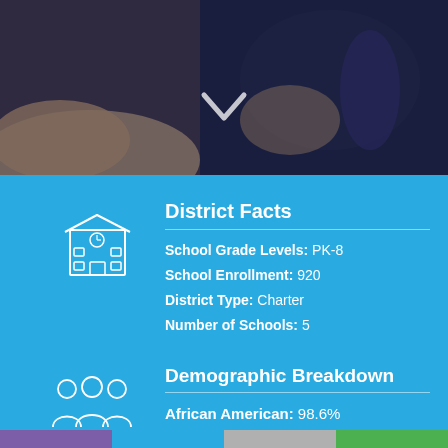[Figure (photo): Students sitting on floor, one with arm raised; photo taken from above. Semi-transparent dark overlay with a white chevron/check icon.]
District Facts
School Grade Levels: PK-8
School Enrollment: 920
District Type: Charter
Number of Schools: 5
Demographic Breakdown
African American: 98.6%